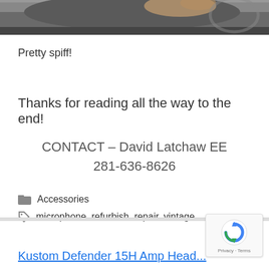[Figure (photo): Close-up photo of a microphone or audio equipment being held, partial view at top of page]
Pretty spiff!
Thanks for reading all the way to the end!
CONTACT – David Latchaw EE
281-636-8626
Accessories
microphone, refurbish, repair, vintage
Kustom Defender 15H Amp Head...